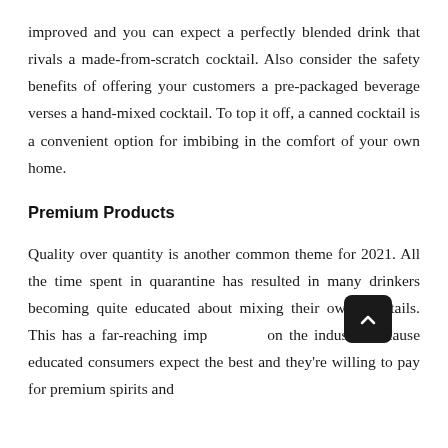improved and you can expect a perfectly blended drink that rivals a made-from-scratch cocktail. Also consider the safety benefits of offering your customers a pre-packaged beverage verses a hand-mixed cocktail. To top it off, a canned cocktail is a convenient option for imbibing in the comfort of your own home.
Premium Products
Quality over quantity is another common theme for 2021. All the time spent in quarantine has resulted in many drinkers becoming quite educated about mixing their own cocktails. This has a far-reaching implication on the industry because educated consumers expect the best and they're willing to pay for premium spirits and